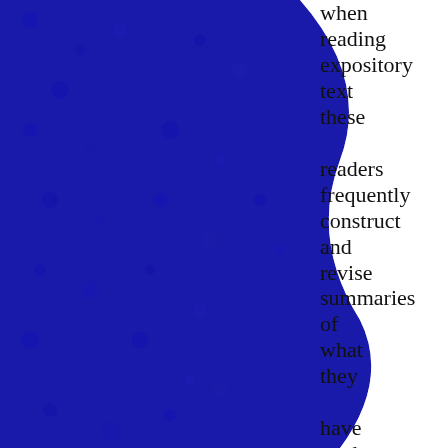[Figure (illustration): Blue textured fabric or surface forming a curved shape on the left side of the page, creating a decorative border effect.]
when reading expository text these readers frequently construct and revise summaries of what they have read. For good readers, text processing occurs not